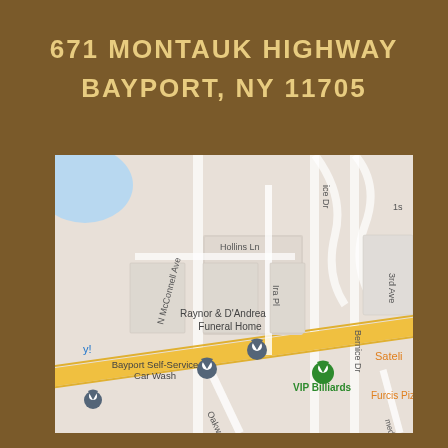671 MONTAUK HIGHWAY BAYPORT, NY 11705
[Figure (map): Google Maps screenshot showing the location of Raynor & D'Andrea Funeral Home at 671 Montauk Highway, Bayport, NY 11705. Nearby landmarks include Bayport Self-Service Car Wash, VIP Billiards, Furcis Pizza, and Sateli. Streets visible include Hollins Ln, N McConnell Ave, Ira Pl, Bernice Dr, 3rd Ave, Oakwood Ave, and Medecor Ave. A yellow highway (Montauk Highway) runs diagonally across the map.]